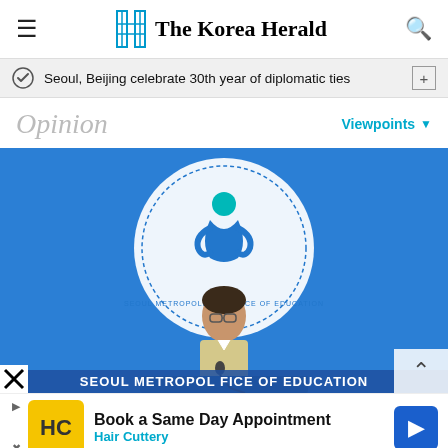The Korea Herald
Seoul, Beijing celebrate 30th year of diplomatic ties
Opinion
Viewpoints
[Figure (photo): Person speaking at a podium in front of Seoul Metropolitan Office of Education backdrop with large circular logo on blue background]
Book a Same Day Appointment Hair Cuttery